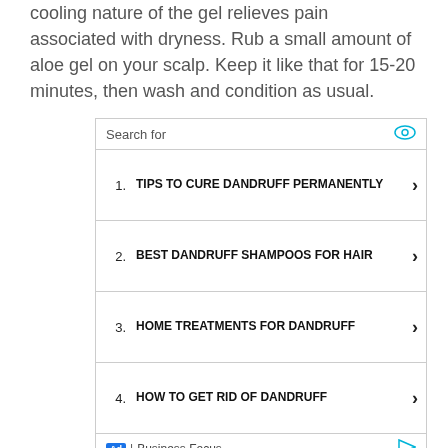cooling nature of the gel relieves pain associated with dryness. Rub a small amount of aloe gel on your scalp. Keep it like that for 15-20 minutes, then wash and condition as usual.
[Figure (screenshot): Search ad box with 'Search for' header and eye icon, listing 4 sponsored search results: 1. TIPS TO CURE DANDRUFF PERMANENTLY, 2. BEST DANDRUFF SHAMPOOS FOR HAIR, 3. HOME TREATMENTS FOR DANDRUFF, 4. HOW TO GET RID OF DANDRUFF. Footer shows 'Ad | Business Focus' with a play icon.]